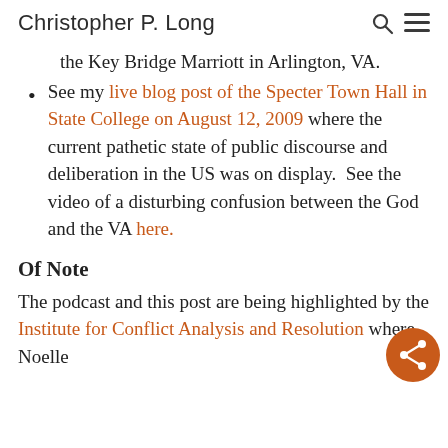Christopher P. Long
the Key Bridge Marriott in Arlington, VA.
See my live blog post of the Specter Town Hall in State College on August 12, 2009 where the current pathetic state of public discourse and deliberation in the US was on display.  See the video of a disturbing confusion between the God and the VA here.
Of Note
The podcast and this post are being highlighted by the Institute for Conflict Analysis and Resolution where Noelle